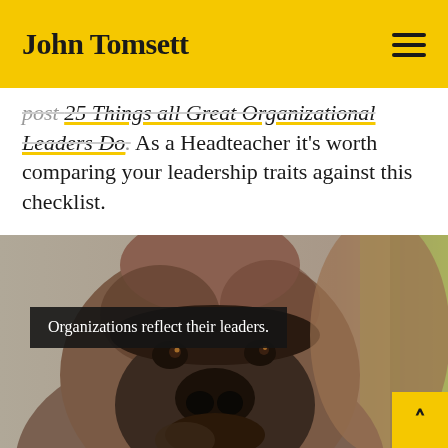John Tomsett
post 25 Things all Great Organizational Leaders Do. As a Headteacher it's worth comparing your leadership traits against this checklist.
[Figure (photo): Close-up black and white photo of a gorilla looking thoughtful, with a yellow-green bamboo background. Overlaid dark text box reads: 'Organizations reflect their leaders.']